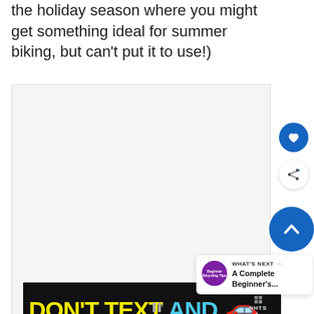the holiday season where you might get something ideal for summer biking, but can't put it to use!)
[Figure (screenshot): Advertisement banner on a dark background reading 'DON'T TEXT AND' with a car emoji, and NHTS ad label, embedded within a webpage screenshot showing a light gray content area above and below the ad. Sidebar has a blue heart button, a share button, and a blue up-arrow button.]
WHAT'S NEXT → A Complete Beginner's...